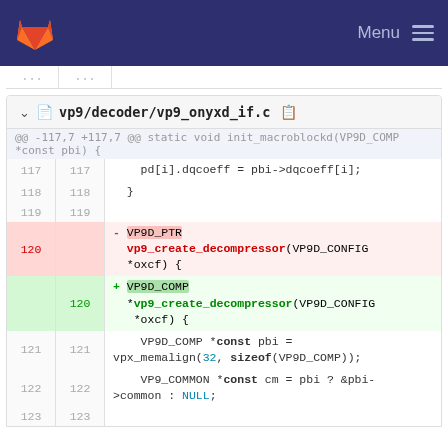Menu (GitLab navigation bar)
[Figure (screenshot): GitLab diff view showing vp9/decoder/vp9_onyxd_if.c with lines 117-122 and a deleted/added function signature change from VP9D_PTR to VP9D_COMP *vp9_create_decompressor]
vp9/decoder/vp9_onyxd_if.c
@@ -117,7 +117,7 @@ static void init_macroblockd(VP9D_COMP *const pbi) {
117  117    pd[i].dqcoeff = pbi->dqcoeff[i];
118  118  }
119  119
120       - VP9D_PTR vp9_create_decompressor(VP9D_CONFIG *oxcf) {
120  + VP9D_COMP *vp9_create_decompressor(VP9D_CONFIG *oxcf) {
121  121    VP9D_COMP *const pbi = vpx_memalign(32, sizeof(VP9D_COMP));
122  122    VP9_COMMON *const cm = pbi ? &pbi->common : NULL;
123  123